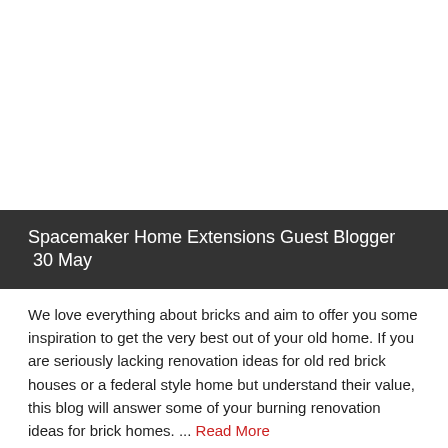[Figure (photo): White/blank image area at top of page]
Spacemaker Home Extensions Guest Blogger  30 May
We love everything about bricks and aim to offer you some inspiration to get the very best out of your old home. If you are seriously lacking renovation ideas for old red brick houses or a federal style home but understand their value, this blog will answer some of your burning renovation ideas for brick homes. ... Read More
Our favourite brick home designs